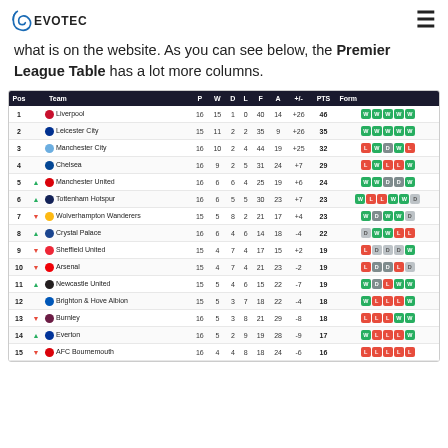Evotec logo and navigation
what is on the website. As you can see below, the Premier League Table has a lot more columns.
| Pos |  | Team | P | W | D | L | F | A | +/- | PTS | Form |
| --- | --- | --- | --- | --- | --- | --- | --- | --- | --- | --- | --- |
| 1 |  | Liverpool | 16 | 15 | 1 | 0 | 40 | 14 | +26 | 46 | W W W W W |
| 2 |  | Leicester City | 15 | 11 | 2 | 2 | 35 | 9 | +26 | 35 | W W W W W |
| 3 |  | Manchester City | 16 | 10 | 2 | 4 | 44 | 19 | +25 | 32 | L W D W L |
| 4 |  | Chelsea | 16 | 9 | 2 | 5 | 31 | 24 | +7 | 29 | L W L L W |
| 5 | ▲ | Manchester United | 16 | 6 | 6 | 4 | 25 | 19 | +6 | 24 | W W D D W |
| 6 | ▲ | Tottenham Hotspur | 16 | 6 | 5 | 5 | 30 | 23 | +7 | 23 | W L L W W D |
| 7 | ▼ | Wolverhampton Wanderers | 15 | 5 | 8 | 2 | 21 | 17 | +4 | 23 | W D W W D |
| 8 | ▲ | Crystal Palace | 16 | 6 | 4 | 6 | 14 | 18 | -4 | 22 | D W W L L |
| 9 | ▼ | Sheffield United | 15 | 4 | 7 | 4 | 17 | 15 | +2 | 19 | L D D D W |
| 10 | ▼ | Arsenal | 15 | 4 | 7 | 4 | 21 | 23 | -2 | 19 | L D D L D |
| 11 | ▲ | Newcastle United | 15 | 5 | 4 | 6 | 15 | 22 | -7 | 19 | W D L W W |
| 12 |  | Brighton & Hove Albion | 15 | 5 | 3 | 7 | 18 | 22 | -4 | 18 | W L L L W |
| 13 | ▼ | Burnley | 16 | 5 | 3 | 8 | 21 | 29 | -8 | 18 | L L L W W |
| 14 | ▲ | Everton | 16 | 5 | 2 | 9 | 19 | 28 | -9 | 17 | W L L L W |
| 15 | ▼ | AFC Bournemouth | 16 | 4 | 4 | 8 | 18 | 24 | -6 | 16 | L L L L L |